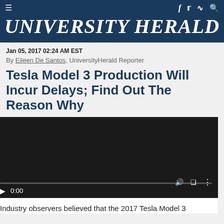UNIVERSITY HERALD
Jan 05, 2017 02:24 AM EST
By Eileen De Santos, UniversityHerald Reporter
Tesla Model 3 Production Will Incur Delays; Find Out The Reason Why
[Figure (screenshot): Embedded video player showing 0:00 time, dark background, with play button, volume icon, fullscreen icon, and more options icon]
Industry observers believed that the 2017 Tesla Model 3